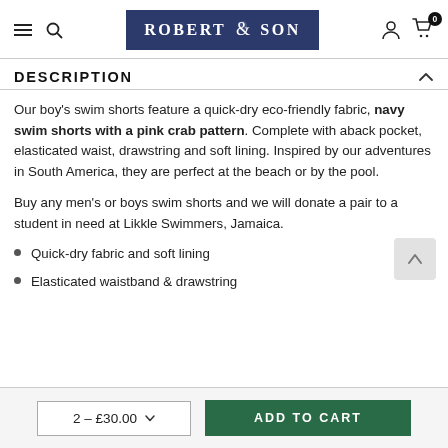[Figure (logo): Robert & Son logo – navy blue rectangle border with white serif text 'ROBERT & SON' and a seahorse icon]
DESCRIPTION
Our boy's swim shorts feature a quick-dry eco-friendly fabric, navy swim shorts with a pink crab pattern. Complete with aback pocket, elasticated waist, drawstring and soft lining. Inspired by our adventures in South America, they are perfect at the beach or by the pool.
Buy any men's or boys swim shorts and we will donate a pair to a student in need at Likkle Swimmers, Jamaica.
Quick-dry fabric and soft lining
Elasticated waistband & drawstring
2 – £30.00  ADD TO CART